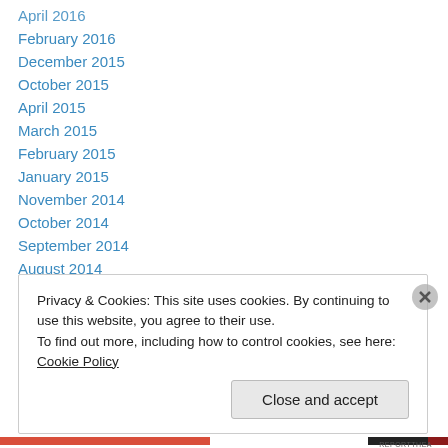April 2016
February 2016
December 2015
October 2015
April 2015
March 2015
February 2015
January 2015
November 2014
October 2014
September 2014
August 2014
June 2014
May 2014
Privacy & Cookies: This site uses cookies. By continuing to use this website, you agree to their use.
To find out more, including how to control cookies, see here: Cookie Policy